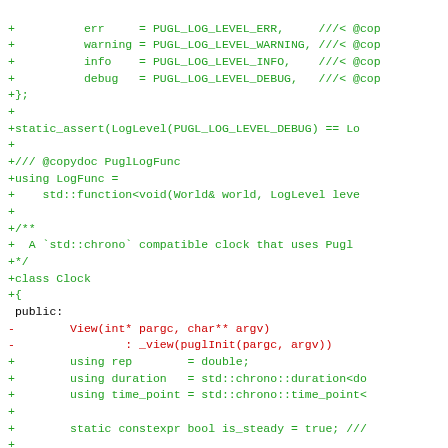[Figure (other): Code diff showing C++ source code with green added lines and red removed lines. Includes enum values for log levels, static_assert, LogFunc type alias, and Clock class definition with member type aliases and constructor.]